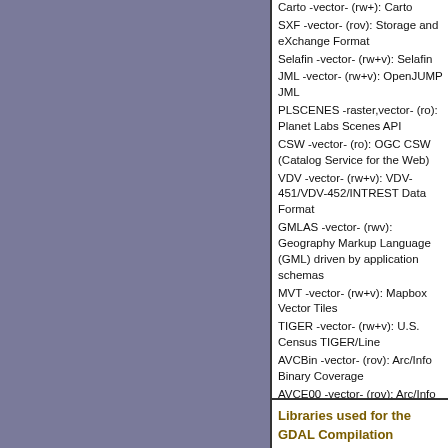Carto -vector- (rw+): Carto
SXF -vector- (rov): Storage and eXchange Format
Selafin -vector- (rw+v): Selafin
JML -vector- (rw+v): OpenJUMP JML
PLSCENES -raster,vector- (ro): Planet Labs Scenes API
CSW -vector- (ro): OGC CSW (Catalog Service for the Web)
VDV -vector- (rw+v): VDV-451/VDV-452/INTREST Data Format
GMLAS -vector- (rwv): Geography Markup Language (GML) driven by application schemas
MVT -vector- (rw+v): Mapbox Vector Tiles
TIGER -vector- (rw+v): U.S. Census TIGER/Line
AVCBin -vector- (rov): Arc/Info Binary Coverage
AVCE00 -vector- (rov): Arc/Info E00 (ASCII) Coverage
HTTP -raster,vector- (ro): HTTP Fetching Wrapper
Libraries used for the GDAL Compilation